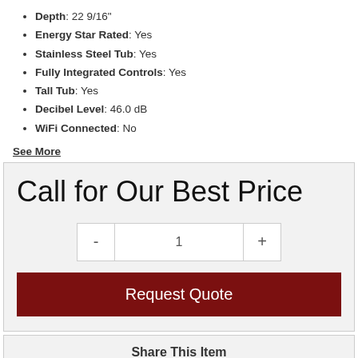Depth: 22 9/16"
Energy Star Rated: Yes
Stainless Steel Tub: Yes
Fully Integrated Controls: Yes
Tall Tub: Yes
Decibel Level: 46.0 dB
WiFi Connected: No
See More
Call for Our Best Price
1
Request Quote
Share This Item